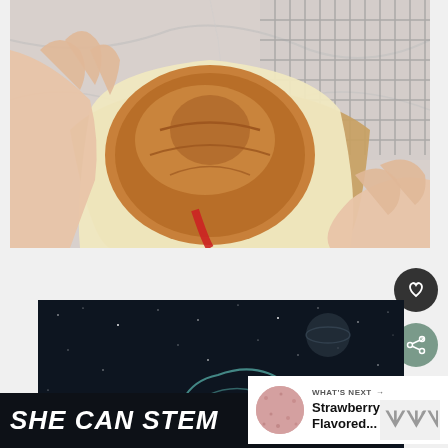[Figure (photo): Overhead photo of hands holding a round rustic bread loaf wrapped in parchment paper inside a brown paper bag, with a wire cooling rack visible in the background on a marble surface]
[Figure (screenshot): UI buttons: dark circular heart/like button and green circular share button on the right side]
[Figure (photo): Dark space-themed card with starfield background and illustrated astronaut helmet, part of a SHE CAN STEM campaign card]
WHAT'S NEXT → Strawberry Flavored...
SHE CAN STEM
[Figure (logo): Wavve app logo showing three wave-like symbols with a degree symbol]